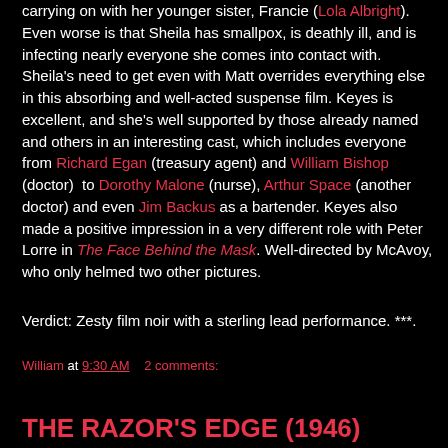carrying on with her younger sister, Francie (Lola Albright). Even worse is that Sheila has smallpox, is deathly ill, and is infecting nearly everyone she comes into contact with. Sheila's need to get even with Matt overrides everything else in this absorbing and well-acted suspense film. Keyes is excellent, and she's well supported by those already named and others in an interesting cast, which includes everyone from Richard Egan (treasury agent) and William Bishop (doctor) to Dorothy Malone (nurse), Arthur Space (another doctor) and even Jim Backus as a bartender. Keyes also made a positive impression in a very different role with Peter Lorre in The Face Behind the Mask. Well-directed by McAvoy, who only helmed two other pictures.
Verdict: Zesty film noir with a sterling lead performance. ***.
William at 9:30 AM    2 comments:
Share
THE RAZOR'S EDGE (1946)